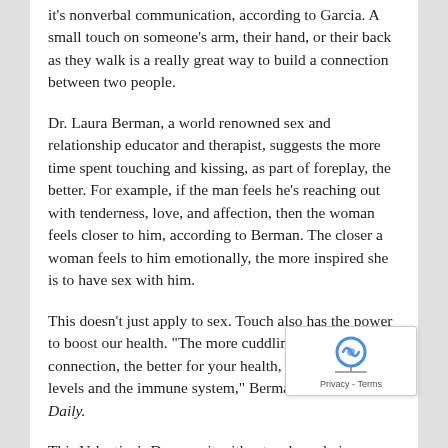it's nonverbal communication, according to Garcia. A small touch on someone's arm, their hand, or their back as they walk is a really great way to build a connection between two people.
Dr. Laura Berman, a world renowned sex and relationship educator and therapist, suggests the more time spent touching and kissing, as part of foreplay, the better. For example, if the man feels he's reaching out with tenderness, love, and affection, then the woman feels closer to him, according to Berman. The closer a woman feels to him emotionally, the more inspired she is to have sex with him.
This doesn't just apply to sex. Touch also has the power to boost our health. "The more cuddling and physical connection, the better for your health, including stress levels and the immune system," Berman told Medical Daily.
This Valentine's Day, say it with a touch, and give your significant other a massage to reap its surprising